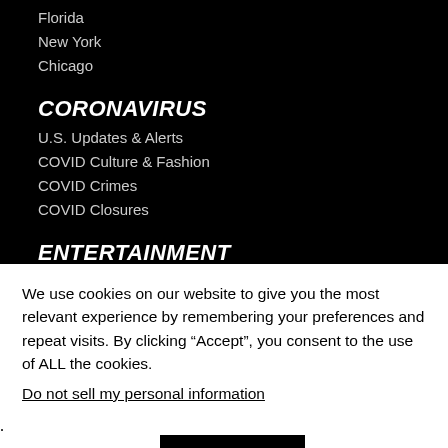Florida
New York
Chicago
CORONAVIRUS
U.S. Updates & Alerts
COVID Culture & Fashion
COVID Crimes
COVID Closures
ENTERTAINMENT
Celebrities
Movies & Film
Music
Television
We use cookies on our website to give you the most relevant experience by remembering your preferences and repeat visits. By clicking “Accept”, you consent to the use of ALL the cookies.
Do not sell my personal information.
Cookie settings   ACCEPT